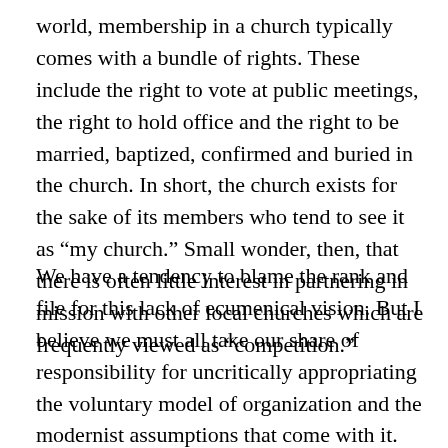world, membership in a church typically comes with a bundle of rights. These include the right to vote at public meetings, the right to hold office and the right to be married, baptized, confirmed and buried in the church. In short, the church exists for the sake of its members who tend to see it as “my church.” Small wonder, then, that there is often little interest in partnering in mission with other local churches which are frequently viewed as “competition.”
We have a tendency to blame the rank and file for this lack of ecumenical vision. But I believe we must all take our share of responsibility for uncritically appropriating the voluntary model of organization and the modernist assumptions that come with it. Just as the American founders are said to have sought a “government of the people, by the people and for the people,” protestants have created a “church of the people, by the people and for the people.” But is that